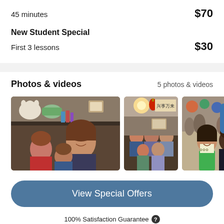45 minutes   $70
New Student Special
First 3 lessons   $30
Photos & videos
5 photos & videos
[Figure (photo): Three photos of a tutor with students in various settings]
View Special Offers
100% Satisfaction Guarantee